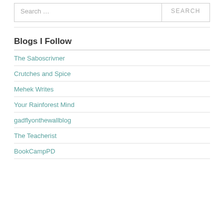Search …
Blogs I Follow
The Saboscrivner
Crutches and Spice
Mehek Writes
Your Rainforest Mind
gadflyonthewallblog
The Teacherist
BookCampPD